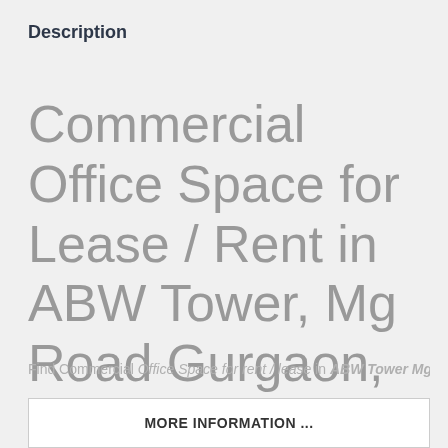Description
Commercial Office Space for Lease / Rent in ABW Tower, Mg Road Gurgaon, Gurugram.
Find Commercial Office Space for rent / lease in ABW Tower Mg
MORE INFORMATION ...